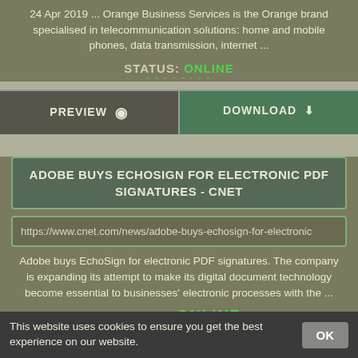24 Apr 2019 ... Orange Business Services is the Orange brand specialised in telecommunication solutions: home and mobile phones, data transmission, internet ...
STATUS: ONLINE
PREVIEW  DOWNLOAD
ADOBE BUYS ECHOSIGN FOR ELECTRONIC PDF SIGNATURES - CNET
https://www.cnet.com/news/adobe-buys-echosign-for-electronic
Adobe buys EchoSign for electronic PDF signatures. The company is expanding its attempt to make its digital document technology become essential to businesses' electronic processes with the ...
STATUS: ONLINE
This website uses cookies to ensure you get the best experience on our website.